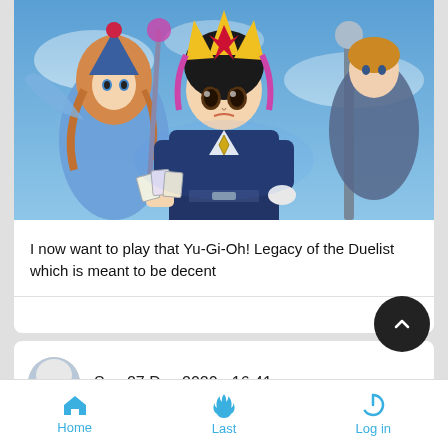[Figure (illustration): Yu-Gi-Oh! anime illustration showing Yugi Muto in the center foreground holding a duel card, Dark Magician Girl behind/left, and another character with a staff on the right, against a blue sky background.]
I now want to play that Yu-Gi-Oh! Legacy of the Duelist which is meant to be decent
Sun 27 Dec 2020 - 16:41
Home  Last  Log in